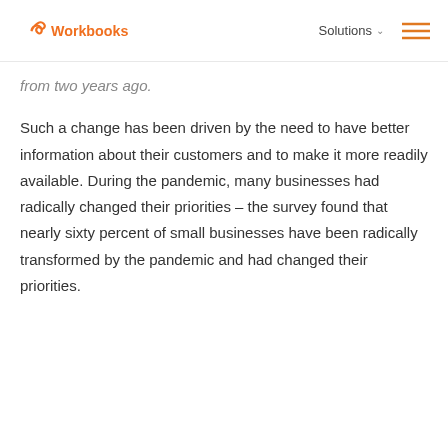Workbooks | Solutions
from two years ago.
Such a change has been driven by the need to have better information about their customers and to make it more readily available. During the pandemic, many businesses had radically changed their priorities – the survey found that nearly sixty percent of small businesses have been radically transformed by the pandemic and had changed their priorities.